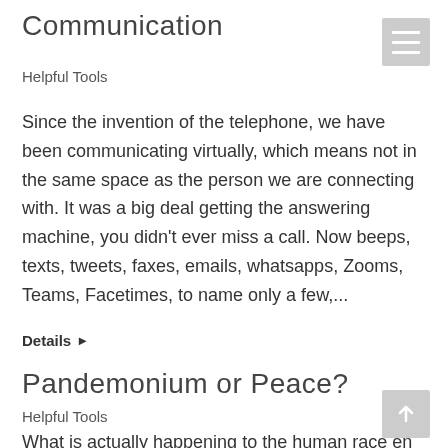Communication
Helpful Tools
Since the invention of the telephone, we have been communicating virtually, which means not in the same space as the person we are connecting with. It was a big deal getting the answering machine, you didn't ever miss a call. Now beeps, texts, tweets, faxes, emails, whatsapps, Zooms, Teams, Facetimes, to name only a few,...
Details ▶
Pandemonium or Peace?
Helpful Tools
What is actually happening to the human race en